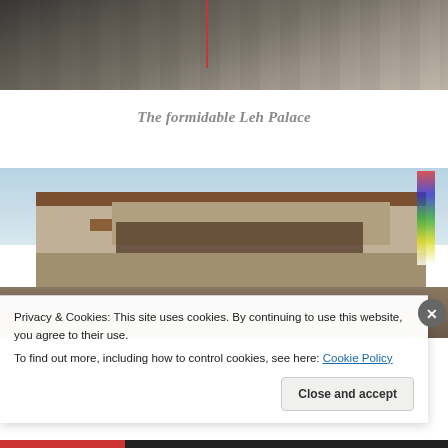[Figure (photo): Partial top portion of a stone wall or archaeological site with a red rope/line visible, cropped at top of page]
The formidable Leh Palace
[Figure (photo): Looking up at Leh Palace in Ladakh, India — a large multi-story traditional Tibetan-style palace with wooden balconies/beams, stone walls, and colorful prayer flags, against a blue sky]
Privacy & Cookies: This site uses cookies. By continuing to use this website, you agree to their use.
To find out more, including how to control cookies, see here: Cookie Policy
Close and accept